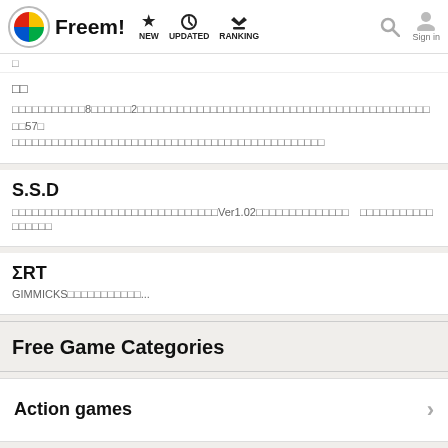Freem! NEW UPDATED RANKING Sign in
□□
□□□□□□□□□□□8□□□□□□2□□□□□□□□□□□□□□□□□□□□□□□□□□□□□□□□□□□□□□□□□□□□□□57□□□□□□□□□□□□□□□□□□□□□□□□□□□□□□□□□□□□□□□□□□□□□□□□□
S.S.D
□□□□□□□□□□□□□□□□□□□□□□□□□□□□□□□Ver1.02□□□□□□□□□□□□□□　□□□□□□□□□□□□□□□□□
ΣRT
GIMMICKS□□□□□□□□□□□...
Free Game Categories
Action games